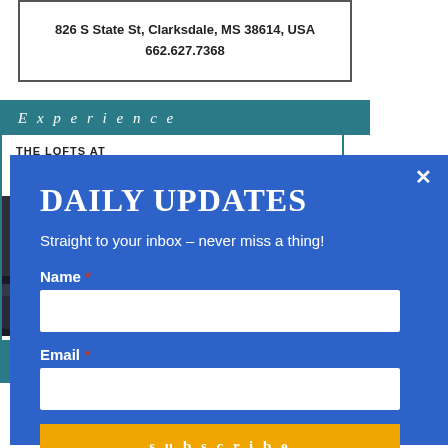826 S State St, Clarksdale, MS 38614, USA
662.627.7368
Experience
THE LOFTS AT
FIVE &
[Figure (photo): Interior photo of a modern loft apartment kitchen and living area]
888.510.9604
Daily Updates
Straight to your inbox – never miss a thing!
Name *
Email *
subscribe
Copyright © 202…